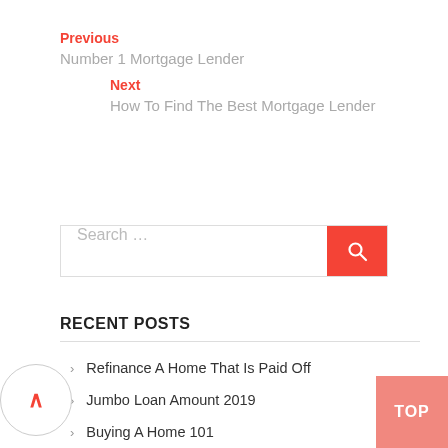Previous
Number 1 Mortgage Lender
Next
How To Find The Best Mortgage Lender
Search …
RECENT POSTS
Refinance A Home That Is Paid Off
Jumbo Loan Amount 2019
Buying A Home 101